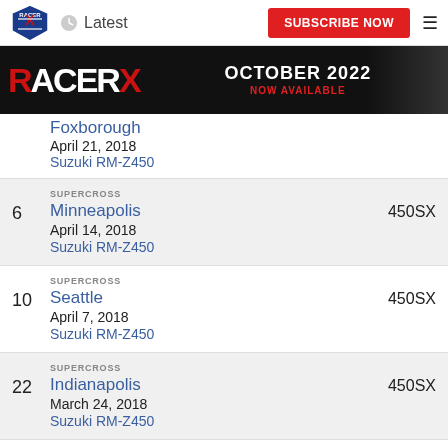Racer X | Latest | SUBSCRIBE NOW
[Figure (photo): Racer X banner ad: OCTOBER 2022 NOW AVAILABLE with motocross rider image]
Foxborough | April 21, 2018 | Suzuki RM-Z450
6 | SUPERCROSS | Minneapolis | April 14, 2018 | Suzuki RM-Z450 | 450SX
10 | SUPERCROSS | Seattle | April 7, 2018 | Suzuki RM-Z450 | 450SX
22 | SUPERCROSS | Indianapolis | March 24, 2018 | Suzuki RM-Z450 | 450SX
5 | SUPERCROSS | 450SX